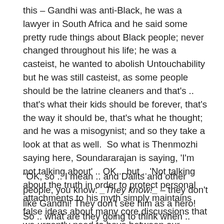this – Gandhi was anti-Black, he was a lawyer in South Africa and he said some pretty rude things about Black people; never changed throughout his life; he was a casteist, he wanted to abolish Untouchability but he was still casteist, as some people should be the latrine cleaners and that's .. that's what their kids should be forever, that's the way it should be, that's what he thought; and he was a misogynist; and so they take a look at that as well.  So what is Thenmozhi saying here, Soundararajan is saying, 'I'm not talking about' .. OK .. but .. 'Not talking about the truth in order to protect personal attachments to his myth simply maintains false ideas about many core discussions that we urgently need to have between our movements.'
"OK, so .. I mean .. and Dalits and other people, you know: _They know!_ – they don't like Gandhi! They don't see him as a hero! So .. what are they going to think when .. when